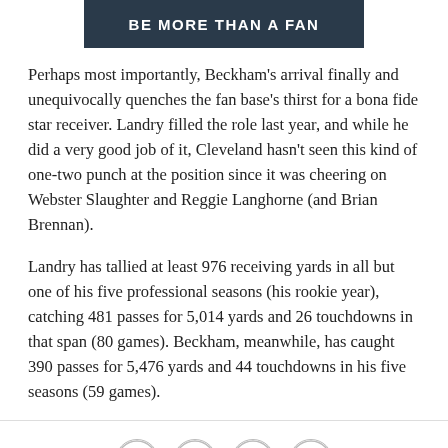[Figure (illustration): Dark blue banner image with bold white uppercase text reading 'BE MORE THAN A FAN']
Perhaps most importantly, Beckham's arrival finally and unequivocally quenches the fan base's thirst for a bona fide star receiver. Landry filled the role last year, and while he did a very good job of it, Cleveland hasn't seen this kind of one-two punch at the position since it was cheering on Webster Slaughter and Reggie Langhorne (and Brian Brennan).
Landry has tallied at least 976 receiving yards in all but one of his five professional seasons (his rookie year), catching 481 passes for 5,014 yards and 26 touchdowns in that span (80 games). Beckham, meanwhile, has caught 390 passes for 5,476 yards and 44 touchdowns in his five seasons (59 games).
[Figure (infographic): Social sharing icons: Facebook, Twitter, Email, Link/chain]